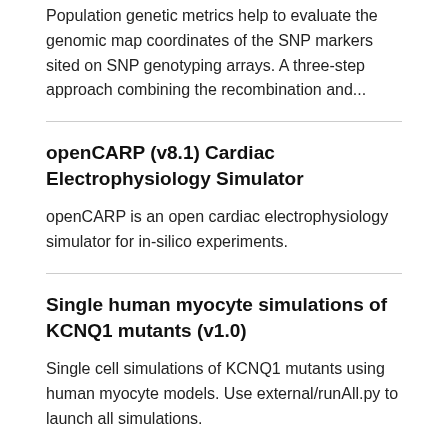Population genetic metrics help to evaluate the genomic map coordinates of the SNP markers sited on SNP genotyping arrays. A three-step approach combining the recombination and...
openCARP (v8.1) Cardiac Electrophysiology Simulator
openCARP is an open cardiac electrophysiology simulator for in-silico experiments.
Single human myocyte simulations of KCNQ1 mutants (v1.0)
Single cell simulations of KCNQ1 mutants using human myocyte models. Use external/runAll.py to launch all simulations.
Raw data for "A piperic acid CoA ligase produces a putative precursor of pipe...